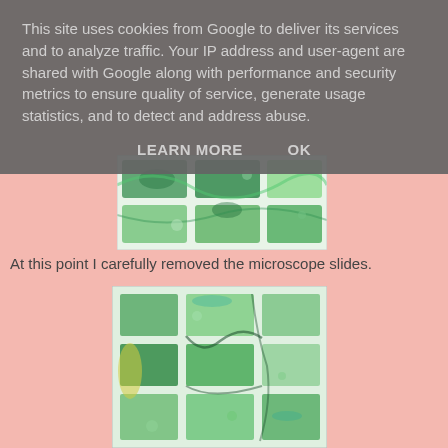This site uses cookies from Google to deliver its services and to analyze traffic. Your IP address and user-agent are shared with Google along with performance and security metrics to ensure quality of service, generate usage statistics, and to detect and address abuse.
LEARN MORE    OK
[Figure (photo): Colorful abstract image of microscope slides with green, blue, teal and yellow watercolor-like patterns on a white background]
At this point I carefully removed the microscope slides.
[Figure (photo): Colorful abstract image of microscope slides with green, teal, yellow and dark blue watercolor-like patterns arranged in a grid on a white background]